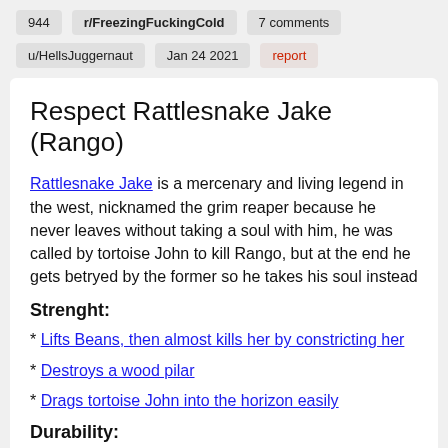944   r/FreezingFuckingCold   7 comments
u/HellsJuggernaut   Jan 24 2021   report
Respect Rattlesnake Jake (Rango)
Rattlesnake Jake is a mercenary and living legend in the west, nicknamed the grim reaper because he never leaves without taking a soul with him, he was called by tortoise John to kill Rango, but at the end he gets betryed by the former so he takes his soul instead
Strenght:
* Lifts Beans, then almost kills her by constricting her
* Destroys a wood pilar
* Drags tortoise John into the horizon easily
Durability: